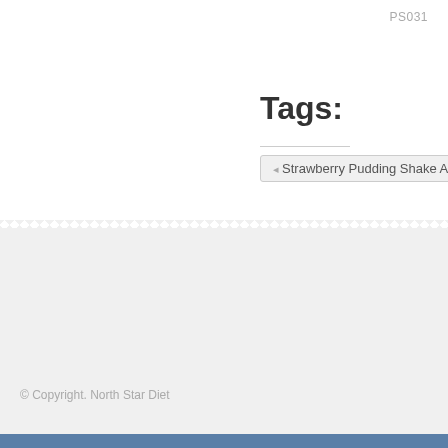PS031
Tags:
Strawberry Pudding Shake ASPA
About North Star
We are a group of health care professionals consisting of physicians, nurses, health a... fitness counselors and weight management counselors. We have over 20 years exper... in helping individuals. We provide a strong maintenance program.
© Copyright. North Star Diet